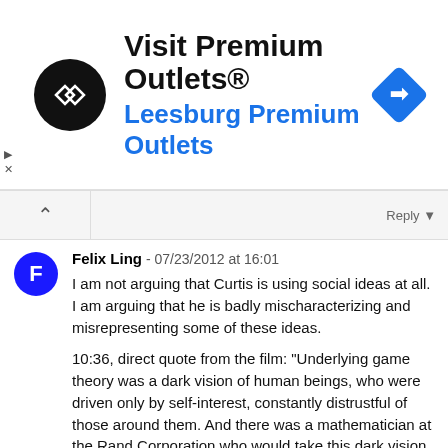[Figure (infographic): Advertisement banner for Visit Premium Outlets® / Leesburg Premium Outlets with circular black logo with white arrows and blue diamond navigation icon]
Felix Ling - 07/23/2012 at 16:01
I am not arguing that Curtis is using social ideas at all. I am arguing that he is badly mischaracterizing and misrepresenting some of these ideas.
10:36, direct quote from the film: "Underlying game theory was a dark vision of human beings, who were driven only by self-interest, constantly distrustful of those around them. And there was a mathematician at the Rand Corporation who would take this dark vision much further. He set out to show that one could create stability through suspicion and self-interest, not just in the